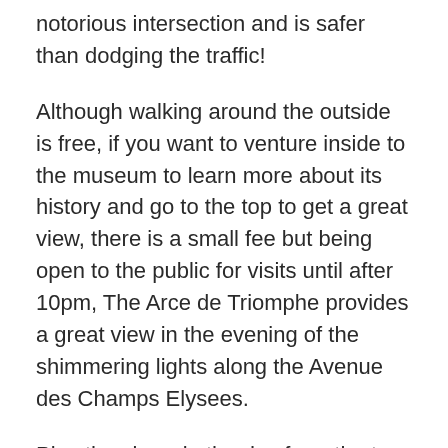notorious intersection and is safer than dodging the traffic!
Although walking around the outside is free, if you want to venture inside to the museum to learn more about its history and go to the top to get a great view, there is a small fee but being open to the public for visits until after 10pm, The Arce de Triomphe provides a great view in the evening of the shimmering lights along the Avenue des Champs Elysees.
Plus the views in the day from the top, with the Eiffel Tower in one direction, the Grand Arche and business district in another direction, obviously the Champs Elysees and even the Sacre Coeur Basillica in the distance, makes a tremendous spot to experience the wonders of Paris.